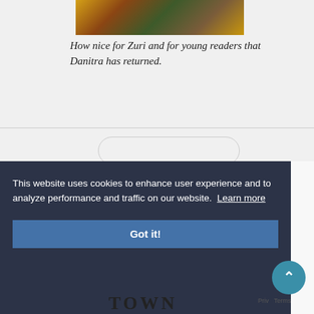[Figure (photo): Partial view of a book cover with warm earthy tones showing hands and decorative illustration elements]
How nice for Zuri and for young readers that Danitra has returned.
This website uses cookies to enhance user experience and to analyze performance and traffic on our website. Learn more
Got it!
TOWN